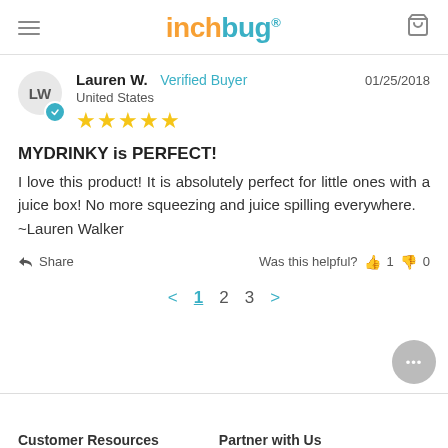inchbug
Lauren W.  Verified Buyer  United States  01/25/2018  ★★★★★
MYDRINKY is PERFECT!
I love this product! It is absolutely perfect for little ones with a juice box! No more squeezing and juice spilling everywhere. ~Lauren Walker
Share  Was this helpful?  👍 1  👎 0
< 1 2 3 >
Customer Resources  Partner with Us